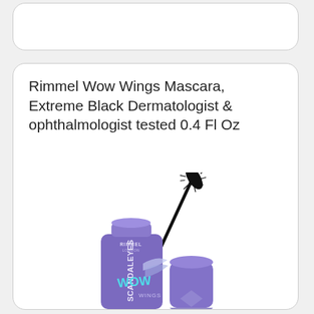Rimmel Wow Wings Mascara, Extreme Black Dermatologist & ophthalmologist tested 0.4 Fl Oz
[Figure (photo): Rimmel Scandaleyes Wow Wings mascara product photo showing the purple mascara tube open with wand extended, with cap sitting separately to the right]